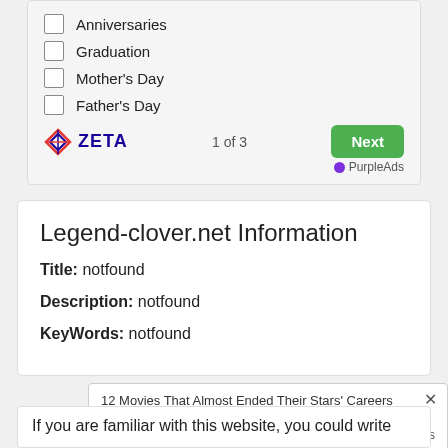Anniversaries
Graduation
Mother's Day
Father's Day
[Figure (screenshot): Zeta logo with diamond icon, page indicator '1 of 3', green Next button, and PurpleAds label]
Legend-clover.net Information
Title: notfound
Description: notfound
KeyWords: notfound
12 Movies That Almost Ended Their Stars' Careers
Brainberries
If you are familiar with this website, you could write